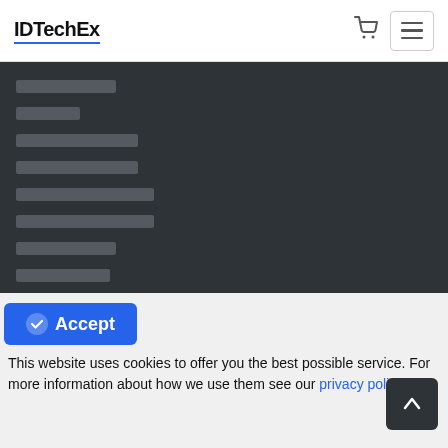IDTechEx
[Figure (screenshot): Navigation menu with redacted/obscured menu items shown as grey rectangles on dark background]
Accept
This website uses cookies to offer you the best possible service. For more information about how we use them see our privacy policy.